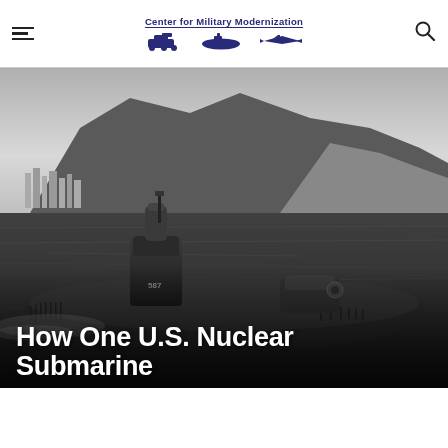Center for Military Modernization
[Figure (photo): Black and white photograph of a U.S. nuclear submarine navigating ocean waters near a mountainous coastline with a city in the background. The submarine's conning tower with number 587 is prominently visible.]
How One U.S. Nuclear Submarine